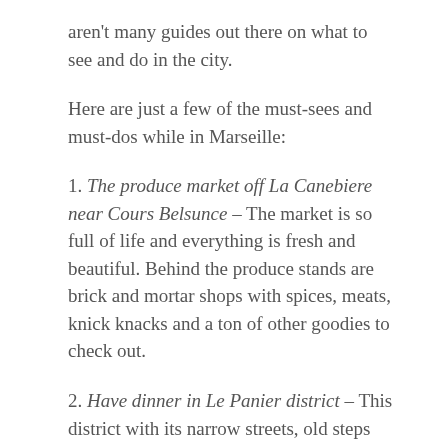aren't many guides out there on what to see and do in the city.
Here are just a few of the must-sees and must-dos while in Marseille:
1. The produce market off La Canebiere near Cours Belsunce – The market is so full of life and everything is fresh and beautiful. Behind the produce stands are brick and mortar shops with spices, meats, knick knacks and a ton of other goodies to check out.
2. Have dinner in Le Panier district – This district with its narrow streets, old steps and historic buildings is where the locals go to enjoy a dinner out. We found a perfect little restaurant called Au Vieux Clocher off a side street